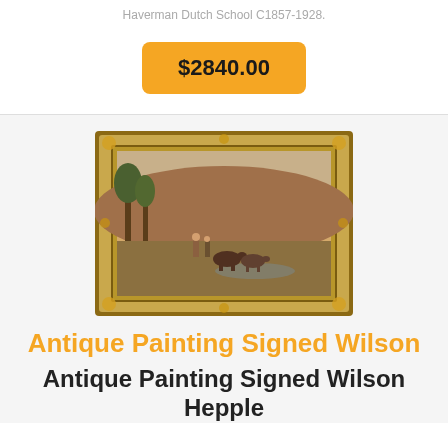Haverman Dutch School C1857-1928.
$2840.00
[Figure (photo): Antique landscape oil painting in an ornate gilded frame, depicting figures with cattle in a pastoral countryside scene.]
Antique Painting Signed Wilson
Antique Painting Signed Wilson Hepple